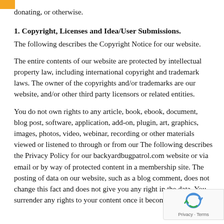donating, or otherwise.
1. Copyright, Licenses and Idea/User Submissions.
The following describes the Copyright Notice for our website.
The entire contents of our website are protected by intellectual property law, including international copyright and trademark laws. The owner of the copyrights and/or trademarks are our website, and/or other third party licensors or related entities.
You do not own rights to any article, book, ebook, document, blog post, software, application, add-on, plugin, art, graphics, images, photos, video, webinar, recording or other materials viewed or listened to through or from our The following describes the Privacy Policy for our backyardbugpatrol.com website or via email or by way of protected content in a membership site. The posting of data on our website, such as a blog comment, does not change this fact and does not give you any right in the data. You surrender any rights to your content once it becomes par website.